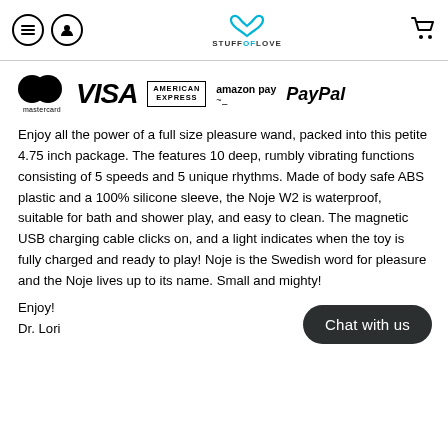STUFFOFLOVE
[Figure (logo): Payment method logos: Mastercard, VISA, American Express, amazon pay, PayPal]
Enjoy all the power of a full size pleasure wand, packed into this petite 4.75 inch package. The features 10 deep, rumbly vibrating functions consisting of 5 speeds and 5 unique rhythms. Made of body safe ABS plastic and a 100% silicone sleeve, the Noje W2 is waterproof, suitable for bath and shower play, and easy to clean. The magnetic USB charging cable clicks on, and a light indicates when the toy is fully charged and ready to play! Noje is the Swedish word for pleasure and the Noje lives up to its name. Small and mighty!
Enjoy!
Dr. Lori